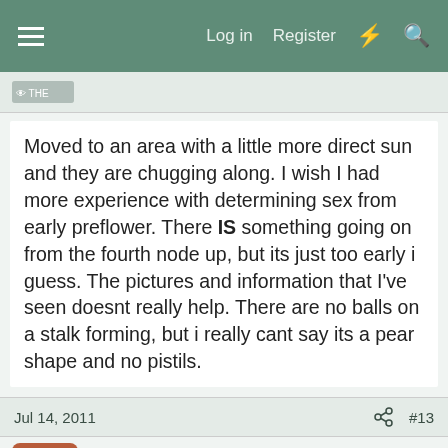≡  Log in  Register  ⚡  🔍
[Figure (photo): Small avatar image thumbnail in a forum post header bar]
Moved to an area with a little more direct sun and they are chugging along. I wish I had more experience with determining sex from early preflower. There IS something going on from the fourth node up, but its just too early i guess. The pictures and information that I've seen doesnt really help. There are no balls on a stalk forming, but i really cant say its a pear shape and no pistils.
Jul 14, 2011  🔗  #13
Rosebud
Guest
I have only sexed two plants in my life as i am a clone girl, but the only difference I could see was the male had a small stem with the ball on top. The females are